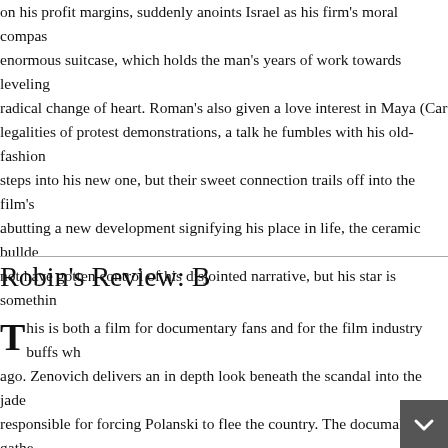on his profit margins, suddenly anoints Israel as his firm's moral compass, enormous suitcase, which holds the man's years of work towards leveling radical change of heart. Roman's also given a love interest in Maya (Car legalities of protest demonstrations, a talk he fumbles with his old-fashion steps into his new one, but their sweet connection trails off into the film's abutting a new development signifying his place in life, the ceramic builde not have gotten control of his disjointed narrative, but his star is somethin
Robin's Review: B
This is both a film for documentary fans and for the film industry buffs wh ago. Zenovich delivers an in depth look beneath the scandal into the jade responsible for forcing Polanski to flee the country. The documaker gathe Polanski, showing, also, the bottom dwelling ways of the paparazzi. Mod Gailey are nicely edited with the archival footage. Polanski remains tacitu simply lays out the information, pro and con, about the scandal, the char fairly or not. This well constructed, thought provoking work that like the